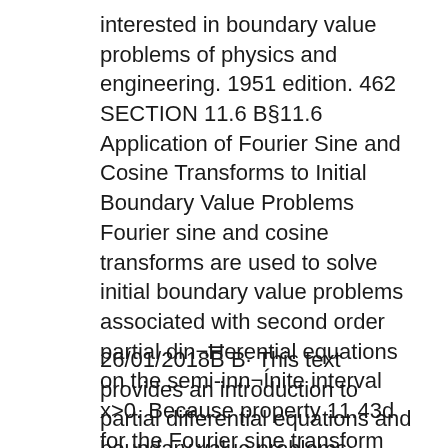interested in boundary value problems of physics and engineering. 1951 edition. 462 SECTION 11.6 B§11.6 Application of Fourier Sine and Cosine Transforms to Initial Boundary Value Problems Fourier sine and cosine transforms are used to solve initial boundary value problems associated with second order partial din¬Ħerential equations on the semi-inn¬Ínite interval x>0. Because property 11.43d for the Fourier sine transform
26/01/2018B B· This text provides an introduction to partial differential equations and boundary value problems, including Fourier series. The treatment offers students a smooth